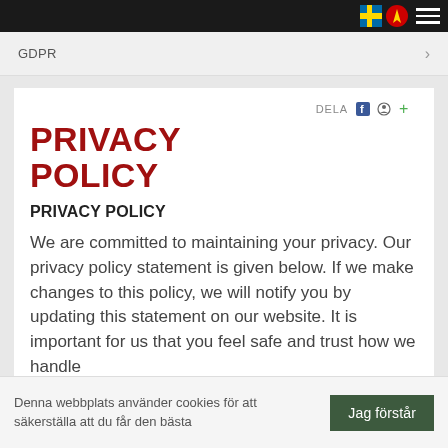GDPR
PRIVACY POLICY
PRIVACY POLICY
We are committed to maintaining your privacy. Our privacy policy statement is given below. If we make changes to this policy, we will notify you by updating this statement on our website. It is important for us that you feel safe and trust how we handle
Denna webbplats använder cookies för att säkerställa att du får den bästa